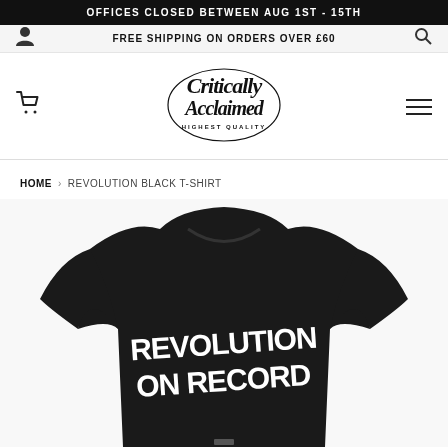OFFICES CLOSED BETWEEN AUG 1ST - 15TH
FREE SHIPPING ON ORDERS OVER £60
[Figure (logo): Critically Acclaimed Highest Quality cursive script logo]
HOME › REVOLUTION BLACK T-SHIRT
[Figure (photo): Back view of a black t-shirt with 'REVOLUTION ON RECORD' printed in large white bold lettering]